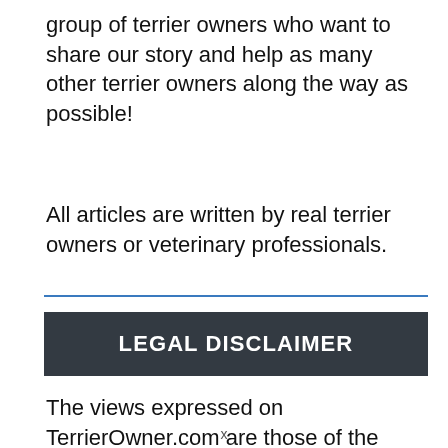group of terrier owners who want to share our story and help as many other terrier owners along the way as possible!
All articles are written by real terrier owners or veterinary professionals.
LEGAL DISCLAIMER
The views expressed on TerrierOwner.com are those of the individual authors. Information